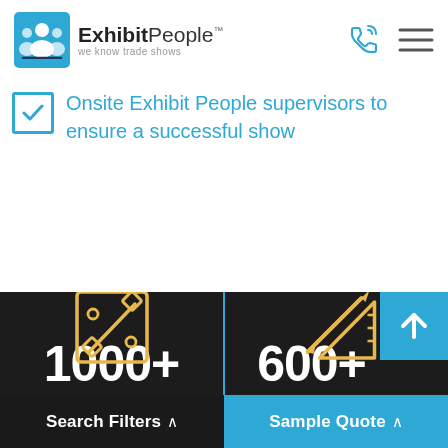ExhibitPeople - we know trade shows
Onsite Exhibit People supervisors to ensure a successful show
[Figure (infographic): Dark background panel showing two icons: left side has a design/tools square icon in gold with stat '1000+', right side has a pencil and ruler icon in gold with stat '600+']
Search Filters
Sample Quote